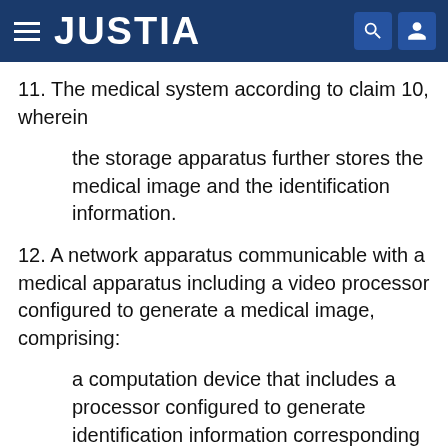JUSTIA
11. The medical system according to claim 10, wherein
the storage apparatus further stores the medical image and the identification information.
12. A network apparatus communicable with a medical apparatus including a video processor configured to generate a medical image, comprising:
a computation device that includes a processor configured to generate identification information corresponding to inspection information and associates the identification information with the inspection information;
a storage apparatus including a memory that comprises a first storage region and a second storage region; and